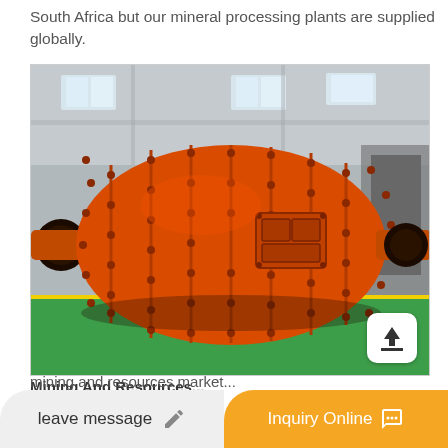South Africa but our mineral processing plants are supplied globally.
[Figure (photo): Large orange industrial ball mill drum in a factory/warehouse setting. The cylindrical vessel has bolted flanges and an access hatch, resting on supports on a green floor inside a large industrial building.]
Mining And Resources...
mining and resources market...
leave message
Inquiry Online